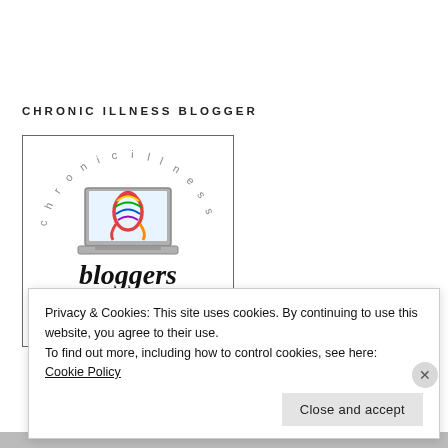CHRONIC ILLNESS BLOGGER
[Figure (logo): Chronic Illness Bloggers Network logo: circular text reading 'chronic illness' around a laptop graphic displaying a rainbow ribbon, with 'bloggers network' in cursive script below]
Privacy & Cookies: This site uses cookies. By continuing to use this website, you agree to their use.
To find out more, including how to control cookies, see here:
Cookie Policy
Close and accept